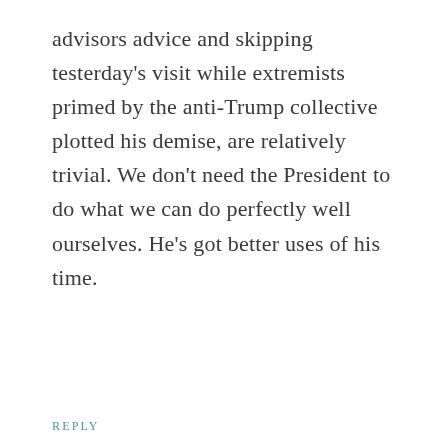advisors advice and skipping testerday's visit while extremists primed by the anti-Trump collective plotted his demise, are relatively trivial. We don't need the President to do what we can do perfectly well ourselves. He's got better uses of his time.
REPLY